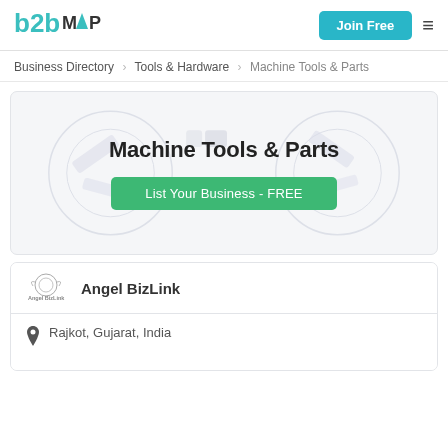b2bMAP — Join Free
Business Directory > Tools & Hardware > Machine Tools & Parts
[Figure (infographic): Banner for Machine Tools & Parts category with decorative gear/tool circles and a green List Your Business - FREE button]
Angel BizLink
Rajkot, Gujarat, India